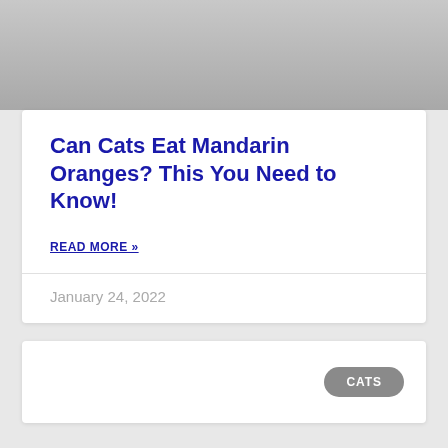[Figure (photo): Gray gradient image placeholder at top of page]
Can Cats Eat Mandarin Oranges? This You Need to Know!
READ MORE »
January 24, 2022
CATS